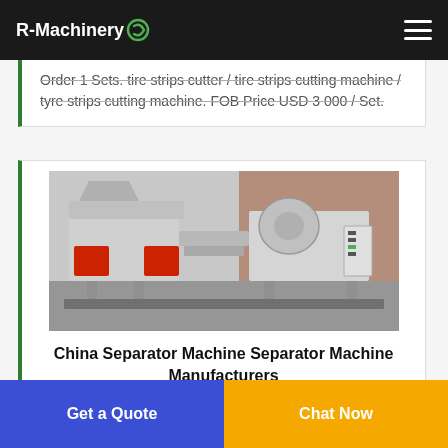R-Machinery
Order 1 Sets. tire strips cutter / tire strips cutting machine / tyre strips cutting machine. FOB Price USD 3 000 / Set.
[Figure (photo): Industrial separator machine / wire recycling machine photographed outdoors against a brick wall background. Machine is white/grey with red accents and a control panel on the right side.]
China Separator Machine Separator Machine Manufacturers
Sourcing Guide for Separator Machine China manufacturing...